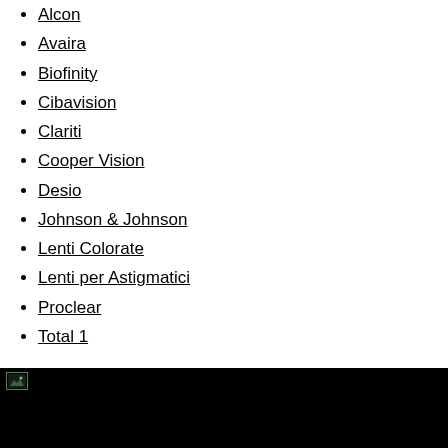Alcon
Avaira
Biofinity
Cibavision
Clariti
Cooper Vision
Desio
Johnson & Johnson
Lenti Colorate
Lenti per Astigmatici
Proclear
Total 1
[Figure (photo): Dark footer area with a small image thumbnail on the left and black background on the right]